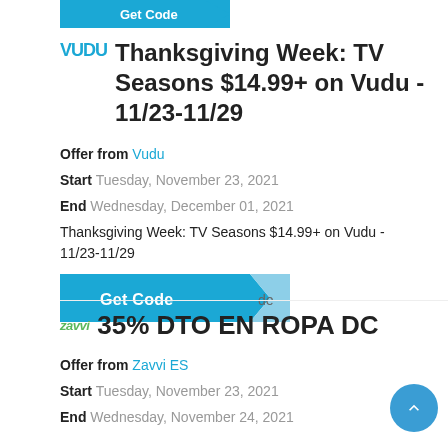[Figure (logo): Vudu logo blue teal with button cutout at top]
Thanksgiving Week: TV Seasons $14.99+ on Vudu - 11/23-11/29
Offer from Vudu
Start Tuesday, November 23, 2021
End Wednesday, December 01, 2021
Thanksgiving Week: TV Seasons $14.99+ on Vudu - 11/23-11/29
[Figure (other): Get Code button with teal background and arrow tag shape]
35% DTO EN ROPA DC
Offer from Zavvi ES
Start Tuesday, November 23, 2021
End Wednesday, November 24, 2021